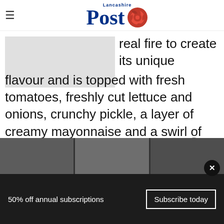Lancashire Post
[Figure (photo): Gray placeholder image for article photo]
real fire to create its unique flavour and is topped with fresh tomatoes, freshly cut lettuce and onions, crunchy pickle, a layer of creamy mayonnaise and a swirl of ketchup.
[Figure (photo): Dark photo strip showing interior scene]
50% off annual subscriptions
Subscribe today